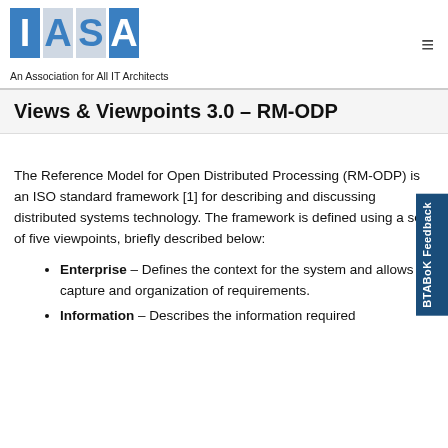IASA – An Association for All IT Architects
Views & Viewpoints 3.0 – RM-ODP
The Reference Model for Open Distributed Processing (RM-ODP) is an ISO standard framework [1] for describing and discussing distributed systems technology. The framework is defined using a set of five viewpoints, briefly described below:
Enterprise – Defines the context for the system and allows capture and organization of requirements.
Information – Describes the information required